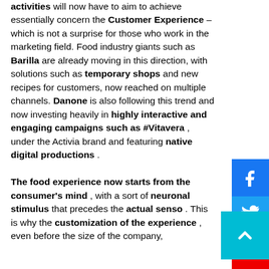activities will now have to aim to achieve essentially concern the Customer Experience – which is not a surprise for those who work in the marketing field. Food industry giants such as Barilla are already moving in this direction, with solutions such as temporary shops and new recipes for customers, now reached on multiple channels. Danone is also following this trend and now investing heavily in highly interactive and engaging campaigns such as #Vitavera , under the Activia brand and featuring native digital productions .

The food experience now starts from the consumer's mind , with a sort of neuronal stimulus that precedes the actual senso . This is why the customization of the experience , even before the size of the company,
[Figure (infographic): Vertical social media share buttons: Facebook (blue), Twitter (light blue), YouTube (red), Instagram (steel blue), and a teal back-to-top arrow button]